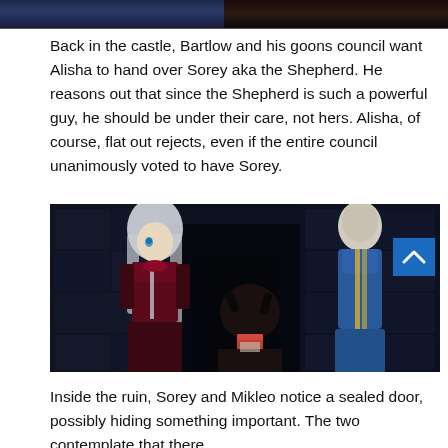[Figure (screenshot): Top portion of two screenshots from an anime-style video game, cropped at the top of the page. Left image shows a dark blue/purple scene; right image shows a character with a bow/accessory.]
Back in the castle, Bartlow and his goons council want Alisha to hand over Sorey aka the Shepherd. He reasons out that since the Shepherd is such a powerful guy, he should be under their care, not hers. Alisha, of course, flat out rejects, even if the entire council unanimously voted to have Sorey.
[Figure (screenshot): Screenshot from an anime-style RPG video game showing two characters in a dark dungeon/ruin setting. A white-haired female character in dark clothing stands on the left, and a blue-clothed character stands on the right. A dark-haired character is visible in the foreground.]
Inside the ruin, Sorey and Mikleo notice a sealed door, possibly hiding something important. The two contemplate that there